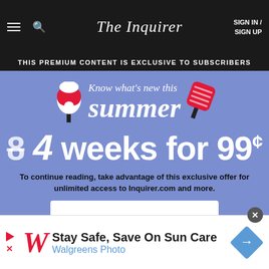The Inquirer | SIGN IN / SIGN UP
THIS PREMIUM CONTENT IS EXCLUSIVE TO SUBSCRIBERS
[Figure (infographic): Summer subscription promotion banner with popsicle illustrations. Text reads: Know what's new this summer]
8 4 weeks for 99¢
To continue reading, take advantage of this exclusive offer for unlimited access to Inquirer.com and more.
[Figure (infographic): Walgreens advertisement: Stay Safe, Save On Sun Care - Walgreens Photo]